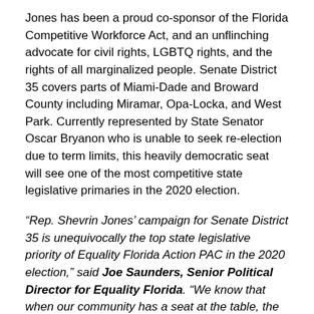Jones has been a proud co-sponsor of the Florida Competitive Workforce Act, and an unflinching advocate for civil rights, LGBTQ rights, and the rights of all marginalized people. Senate District 35 covers parts of Miami-Dade and Broward County including Miramar, Opa-Locka, and West Park. Currently represented by State Senator Oscar Bryanon who is unable to seek re-election due to term limits, this heavily democratic seat will see one of the most competitive state legislative primaries in the 2020 election.
“Rep. Shevrin Jones’ campaign for Senate District 35 is unequivocally the top state legislative priority of Equality Florida Action PAC in the 2020 election,” said Joe Saunders, Senior Political Director for Equality Florida. “We know that when our community has a seat at the table, the lives of all LGBTQ Floridians improve. We’re going to use every tool, engage every donor, and rally every troop we have to help Shevrin Jones make history. It’s time for an authentic and passionate champion for our families in the Florida Senate. This is the year we’re going to make history and change the Florida Senate forever.”
“I am so proud to receive the endorsement of Equality Florida